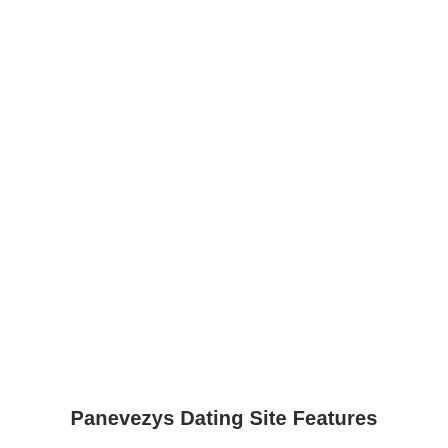Panevezys Dating Site Features